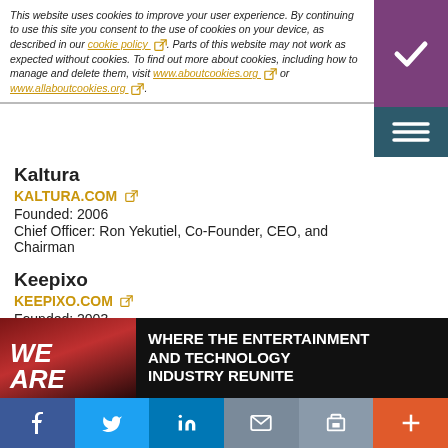This website uses cookies to improve your user experience. By continuing to use this site you consent to the use of cookies on your device, as described in our cookie policy. Parts of this website may not work as expected without cookies. To find out more about cookies, including how to manage and delete them, visit www.aboutcookies.org or www.allaboutcookies.org.
Kaltura
KALTURA.COM
Founded: 2006
Chief Officer: Ron Yekutiel, Co-Founder, CEO, and Chairman
Keepixo
KEEPIXO.COM
Founded: 2003
Chief Officer: Pierre Marty, Co-Founder and CEO
Level 3
LEVEL3.COM
Founded: 1985
Chief Officer: Jeff Storey, President and CEO
[Figure (screenshot): Dark banner with 'WE ARE' text on left and 'WHERE THE ENTERTAINMENT AND TECHNOLOGY INDUSTRY REUNITE' on right]
f | Twitter bird | in | mail icon | print icon | +